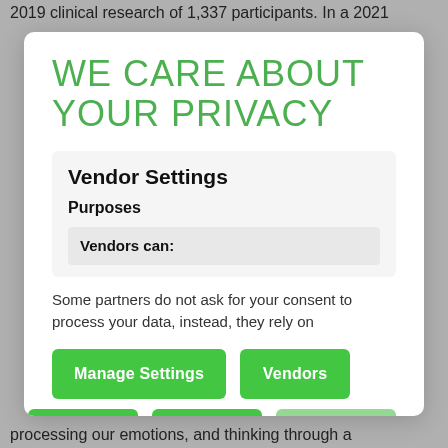2019 clinical research of 1,337 participants. In a 2021
WE CARE ABOUT YOUR PRIVACY
Vendor Settings
Purposes
Vendors can:
Some partners do not ask for your consent to process your data, instead, they rely on
Manage Settings
Vendors
Accept All
Reject All
Save & Exit
processing our emotions, and thinking through a